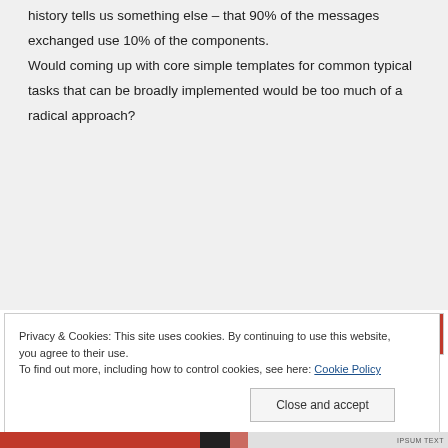history tells us something else – that 90% of the messages exchanged use 10% of the components.

Would coming up with core simple templates for common typical tasks that can be broadly implemented would be too much of a radical approach?
Privacy & Cookies: This site uses cookies. By continuing to use this website, you agree to their use.
To find out more, including how to control cookies, see here: Cookie Policy
Close and accept